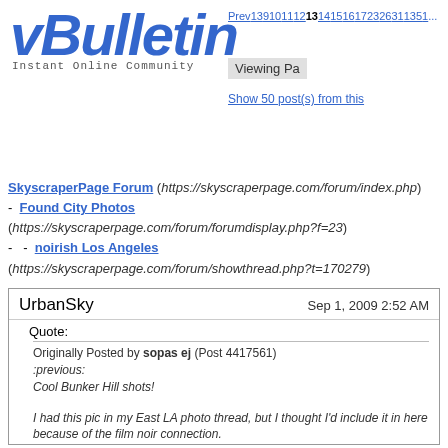[Figure (logo): vBulletin logo with text 'Instant Online Community']
Prev 13 9 10 11 12 13 14 15 16 17 23 26 31 135 1... Viewing Pa... Show 50 post(s) from this...
SkyscraperPage Forum (https://skyscraperpage.com/forum/index.php) - Found City Photos (https://skyscraperpage.com/forum/forumdisplay.php?f=23) - - noirish Los Angeles (https://skyscraperpage.com/forum/showthread.php?t=170279)
UrbanSky Sep 1, 2009 2:52 AM
Quote: Originally Posted by sopas ej (Post 4417561) :previous: Cool Bunker Hill shots! I had this pic in my East LA photo thread, but I thought I'd include it in here because of the film noir connection. This is Whittier Blvd. in 1928, in what is now Pico Rivera. The billboard you see is advertising Gay's Lion Farm in El Monte, which was a tourist attraction featuring live lions. Reading about it on Wikipedia, it opened in 1925 and closed in 1942 because of WWII meat shortages; it never reopened. But